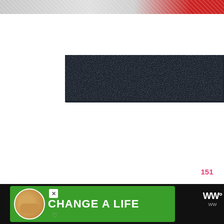[Figure (photo): Top partial photo strip showing a cat or animal fur on the left side and strawberries on the right side]
[Figure (logo): SHE CAN STEM logo on dark navy/charcoal background with bold uppercase text]
151
[Figure (other): Heart (like) button circle in white with pink heart icon, showing 151 likes]
[Figure (other): Pink circular search button with magnifying glass icon]
[Figure (other): Advertisement banner: green background with dog photo and CHANGE A LIFE text in white, close button, WW logo on right]